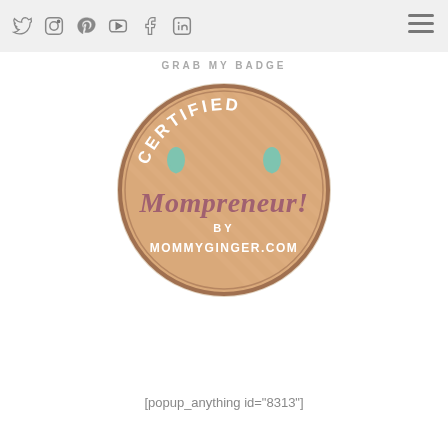Social media icons and hamburger menu
GRAB MY BADGE
[Figure (logo): Circular badge with sandy orange/tan background with diagonal stripe texture and a darker circular border. Text reads: CERTIFIED (arched at top in white bold letters), two teal teardrop/leaf shapes on left and right, Mompreneur! in large script/cursive font in mauve/rose color, BY in small white caps, MOMMYGINGER.COM in white bold caps at bottom.]
[popup_anything id="8313"]